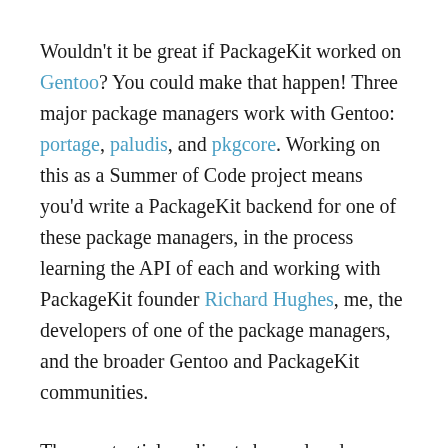Wouldn't it be great if PackageKit worked on Gentoo? You could make that happen! Three major package managers work with Gentoo: portage, paludis, and pkgcore. Working on this as a Summer of Code project means you'd write a PackageKit backend for one of these package managers, in the process learning the API of each and working with PackageKit founder Richard Hughes, me, the developers of one of the package managers, and the broader Gentoo and PackageKit communities.
Three potential applicants have already talked with me about this, so space is limited. You can reach me by email or on IRC (irc.freenode.net/#packagekit as dberkholz) if you'd like to talk about your ideas.